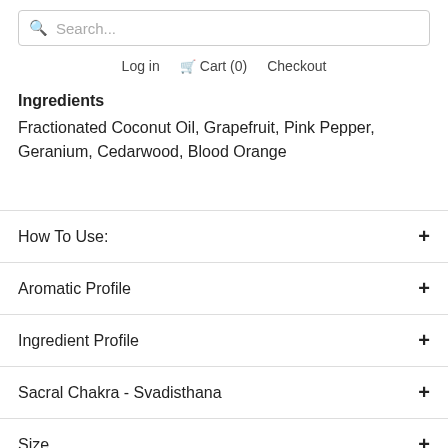[Figure (screenshot): Search bar with magnifying glass icon and 'Search...' placeholder text]
Log in  Cart (0)  Checkout
Ingredients
Fractionated Coconut Oil, Grapefruit, Pink Pepper, Geranium, Cedarwood, Blood Orange
How To Use:
Aromatic Profile
Ingredient Profile
Sacral Chakra - Svadisthana
Size
Product Care